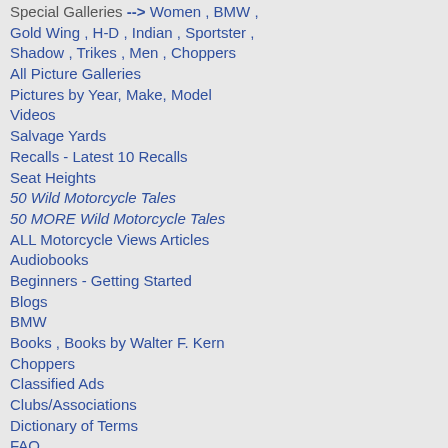Special Galleries --> Women , BMW , Gold Wing , H-D , Indian , Sportster , Shadow , Trikes , Men , Choppers
All Picture Galleries
Pictures by Year, Make, Model
Videos
Salvage Yards
Recalls - Latest 10 Recalls
Seat Heights
50 Wild Motorcycle Tales
50 MORE Wild Motorcycle Tales
ALL Motorcycle Views Articles
Audiobooks
Beginners - Getting Started
Blogs
BMW
Books , Books by Walter F. Kern
Choppers
Classified Ads
Clubs/Associations
Dictionary of Terms
FAQ
Forums